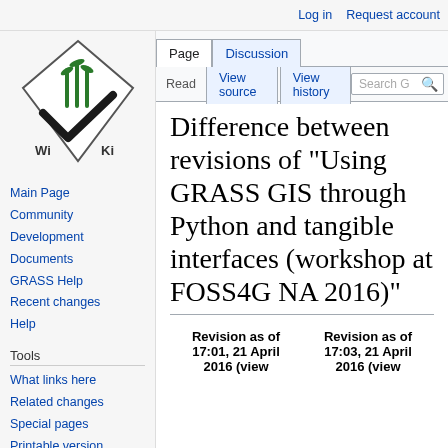Log in  Request account
[Figure (logo): GRASS GIS wiki logo — diamond shape with green grass illustration and 'Wi Ki' text]
Main Page
Community
Development
Documents
GRASS Help
Recent changes
Help
Tools
What links here
Related changes
Special pages
Printable version
Permanent link
Difference between revisions of "Using GRASS GIS through Python and tangible interfaces (workshop at FOSS4G NA 2016)"
| Revision as of 17:01, 21 April 2016 (view | Revision as of 17:03, 21 April 2016 (view |
| --- | --- |